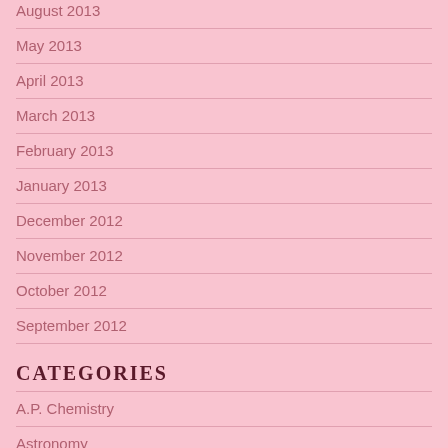August 2013
May 2013
April 2013
March 2013
February 2013
January 2013
December 2012
November 2012
October 2012
September 2012
CATEGORIES
A.P. Chemistry
Astronomy
Forensic Science